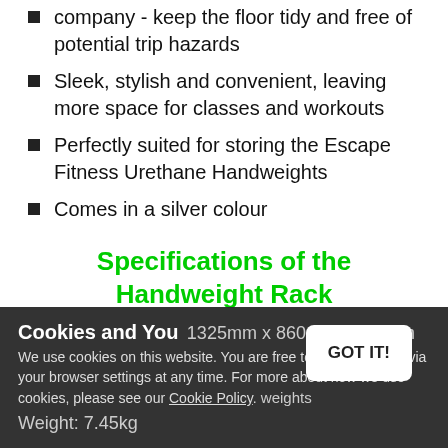company - keep the floor tidy and free of potential trip hazards
Sleek, stylish and convenient, leaving more space for classes and workouts
Perfectly suited for storing the Escape Fitness Urethane Handweights
Comes in a silver colour
Specifications of the Handweight Rack
Cookies and You — We use cookies on this website. You are free to manage these via your browser settings at any time. For more about how we use cookies, please see our Cookie Policy.
Size: 1325mm x 860mm x 744mm | Weight: 7.45kg | Suitable for weights